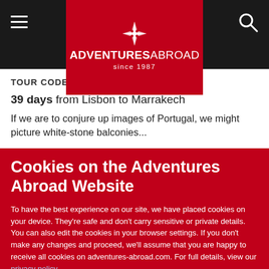Adventures Abroad since 1987
TOUR CODE: PS5
39 days from Lisbon to Marrakech
If we are to conjure up images of Portugal, we might picture white-stone balconies...
Cookies on the Adventures Abroad Website
To have the best experience on our site, we have placed cookies on your device. They're safe and don't carry sensitive or private details. You can also edit the cookies in your browser settings. If you don't make any changes and proceed, we'll assume that you are happy to receive all cookies on adventures-abroad.com. For full details, view our privacy policy.
I UNDERSTAND